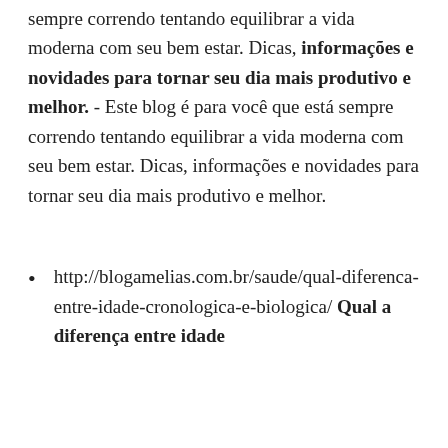sempre correndo tentando equilibrar a vida moderna com seu bem estar. Dicas, informações e novidades para tornar seu dia mais produtivo e melhor. - Este blog é para você que está sempre correndo tentando equilibrar a vida moderna com seu bem estar. Dicas, informações e novidades para tornar seu dia mais produtivo e melhor.
http://blogamelias.com.br/saude/qual-diferenca-entre-idade-cronologica-e-biologica/ Qual a diferença entre idade